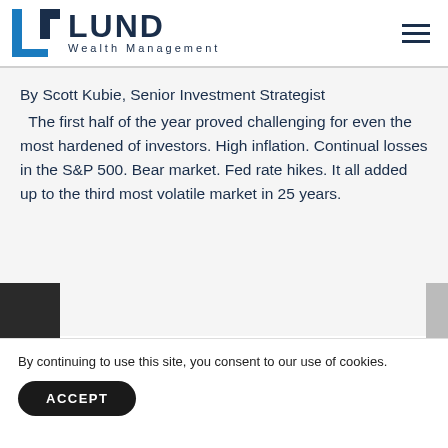LUND Wealth Management
By Scott Kubie, Senior Investment Strategist
The first half of the year proved challenging for even the most hardened of investors. High inflation. Continual losses in the S&P 500. Bear market. Fed rate hikes. It all added up to the third most volatile market in 25 years.
By continuing to use this site, you consent to our use of cookies.